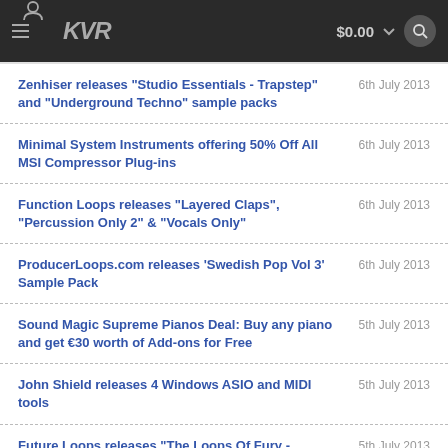KVR $0.00
Zenhiser releases "Studio Essentials - Trapstep" and "Underground Techno" sample packs | 6th July 2013
Minimal System Instruments offering 50% Off All MSI Compressor Plug-ins | 6th July 2013
Function Loops releases "Layered Claps", "Percussion Only 2" & "Vocals Only" | 6th July 2013
ProducerLoops.com releases 'Swedish Pop Vol 3' Sample Pack | 6th July 2013
Sound Magic Supreme Pianos Deal: Buy any piano and get €30 worth of Add-ons for Free | 5th July 2013
John Shield releases 4 Windows ASIO and MIDI tools | 5th July 2013
Future Loops releases "The Loops Of Fury - Electro Meets Rave" Sample Pack | 5th July 2013
Archetype Instruments updates Arc 5 to v2.02 | 4th July 2013